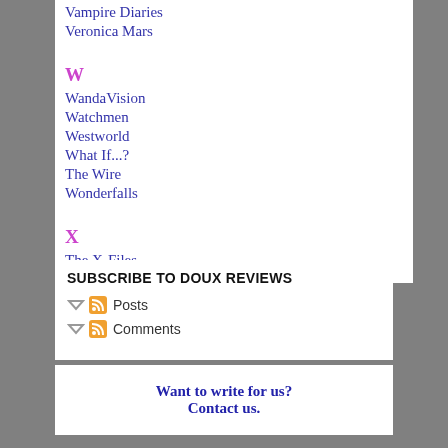Vampire Diaries
Veronica Mars
W
WandaVision
Watchmen
Westworld
What If...?
The Wire
Wonderfalls
X
The X-Files
SUBSCRIBE TO DOUX REVIEWS
Posts
Comments
Want to write for us? Contact us.